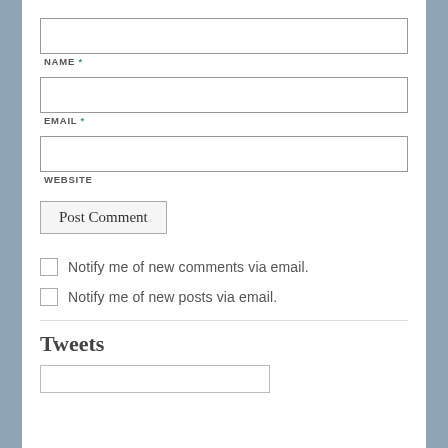NAME *
EMAIL *
WEBSITE
Post Comment
Notify me of new comments via email.
Notify me of new posts via email.
Tweets